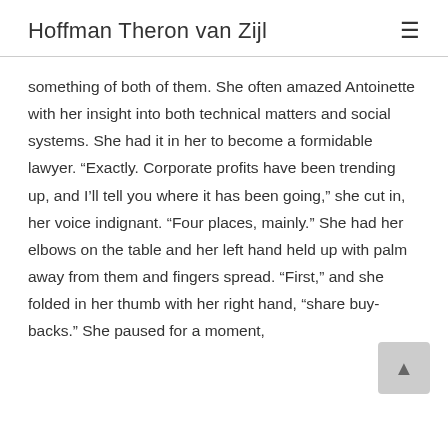Hoffman Theron van Zijl
something of both of them. She often amazed Antoinette with her insight into both technical matters and social systems. She had it in her to become a formidable lawyer. “Exactly. Corporate profits have been trending up, and I’ll tell you where it has been going,” she cut in, her voice indignant. “Four places, mainly.” She had her elbows on the table and her left hand held up with palm away from them and fingers spread. “First,” and she folded in her thumb with her right hand, “share buy-backs.” She paused for a moment,